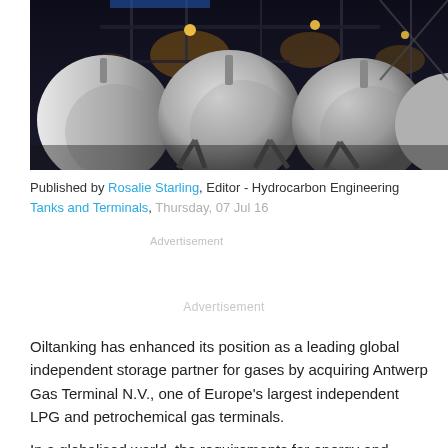[Figure (photo): Industrial LPG/gas storage spherical tanks illuminated at night, photographed from below showing multiple large white spherical tanks on metal frames with yellow lighting in the background.]
Published by Rosalie Starling, Editor - Hydrocarbon Engineering Tanks and Terminals, Thursday, 07 Jul 16
Advertisement
Advertisement
Oiltanking has enhanced its position as a leading global independent storage partner for gases by acquiring Antwerp Gas Terminal N.V., one of Europe's largest independent LPG and petrochemical gas terminals.
In a globalised world, the requirements for energy and feedstocks are changing. As a proactive player, Oiltanking therefore aims to further diversify its storage portfolio. The company firmly believes